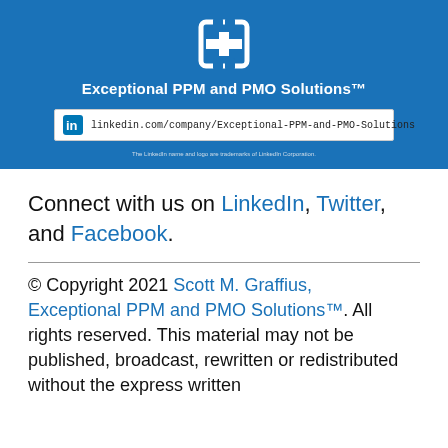[Figure (logo): Blue banner with Exceptional PPM and PMO Solutions logo (white interlocking gear/bracket symbol), tagline 'Exceptional PPM and PMO Solutions™', and LinkedIn company URL box: linkedin.com/company/Exceptional-PPM-and-PMO-Solutions]
Connect with us on LinkedIn, Twitter, and Facebook.
© Copyright 2021 Scott M. Graffius, Exceptional PPM and PMO Solutions™. All rights reserved. This material may not be published, broadcast, rewritten or redistributed without the express written